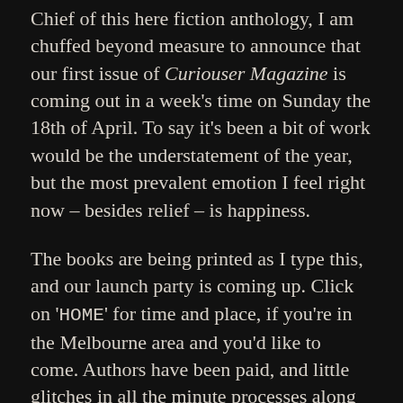Chief of this here fiction anthology, I am chuffed beyond measure to announce that our first issue of Curiouser Magazine is coming out in a week's time on Sunday the 18th of April. To say it's been a bit of work would be the understatement of the year, but the most prevalent emotion I feel right now – besides relief – is happiness.
The books are being printed as I type this, and our launch party is coming up. Click on 'HOME' for time and place, if you're in the Melbourne area and you'd like to come. Authors have been paid, and little glitches in all the minute processes along the way are